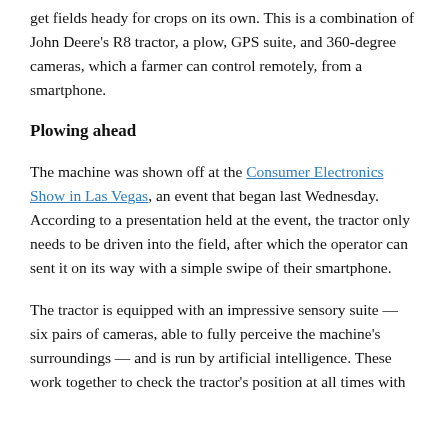get fields heady for crops on its own. This is a combination of John Deere's R8 tractor, a plow, GPS suite, and 360-degree cameras, which a farmer can control remotely, from a smartphone.
Plowing ahead
The machine was shown off at the Consumer Electronics Show in Las Vegas, an event that began last Wednesday. According to a presentation held at the event, the tractor only needs to be driven into the field, after which the operator can sent it on its way with a simple swipe of their smartphone.
The tractor is equipped with an impressive sensory suite — six pairs of cameras, able to fully perceive the machine's surroundings — and is run by artificial intelligence. These work together to check the tractor's position at all times with